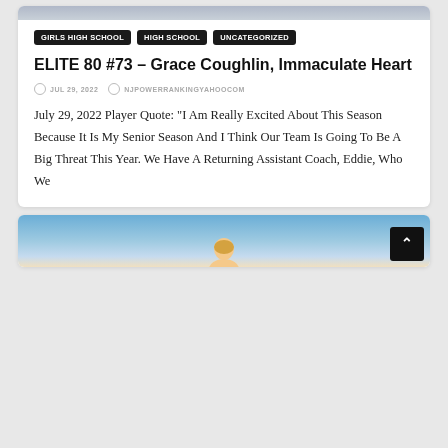[Figure (photo): Top portion of a sports/athlete photo, cropped at top of page]
GIRLS HIGH SCHOOL
HIGH SCHOOL
UNCATEGORIZED
ELITE 80 #73 – Grace Coughlin, Immaculate Heart
JUL 29, 2022   NJPOWERRANKINGYAHOOCOM
July 29, 2022 Player Quote: "I Am Really Excited About This Season Because It Is My Senior Season And I Think Our Team Is Going To Be A Big Threat This Year. We Have A Returning Assistant Coach, Eddie, Who We
[Figure (photo): Second article card with athlete photo and sky background, partially visible]